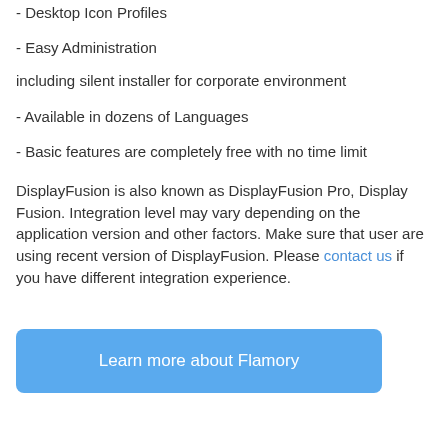- Desktop Icon Profiles
- Easy Administration
including silent installer for corporate environment
- Available in dozens of Languages
- Basic features are completely free with no time limit
DisplayFusion is also known as DisplayFusion Pro, Display Fusion. Integration level may vary depending on the application version and other factors. Make sure that user are using recent version of DisplayFusion. Please contact us if you have different integration experience.
Learn more about Flamory